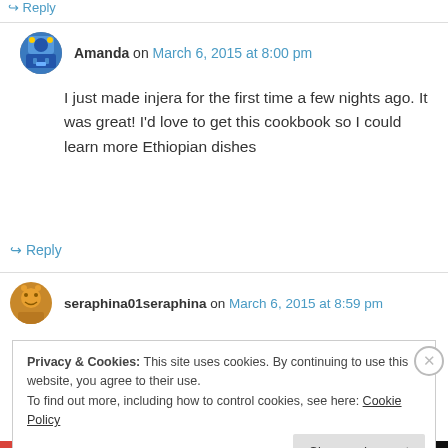↳ Reply
Amanda on March 6, 2015 at 8:00 pm
I just made injera for the first time a few nights ago. It was great! I'd love to get this cookbook so I could learn more Ethiopian dishes
↳ Reply
seraphina01seraphina on March 6, 2015 at 8:59 pm
Privacy & Cookies: This site uses cookies. By continuing to use this website, you agree to their use. To find out more, including how to control cookies, see here: Cookie Policy
Close and accept